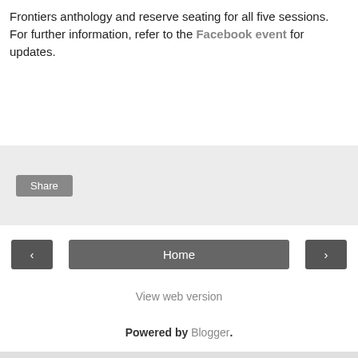Frontiers anthology and reserve seating for all five sessions. For further information, refer to the Facebook event for updates.
[Figure (screenshot): Social media share widget area with a Share button on a light grey background]
[Figure (screenshot): Navigation bar with previous arrow button on left, Home button in center, next arrow button on right]
View web version
Powered by Blogger.